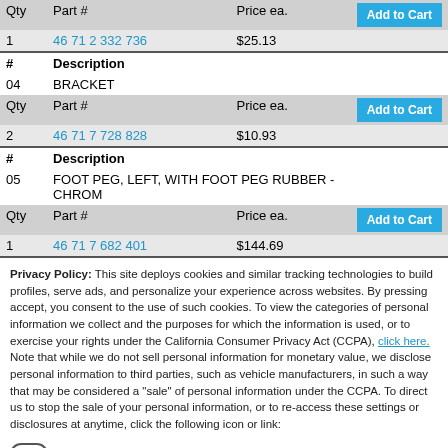| Qty | Part # | Price ea. | Add to Cart |
| --- | --- | --- | --- |
| 1 | 46 71 2 332 736 | $25.13 | Add to Cart |
| # | Description |  |  |
| 04 | BRACKET |  |  |
| Qty | Part # | Price ea. | Add to Cart |
| 2 | 46 71 7 728 828 | $10.93 | Add to Cart |
| # | Description |  |  |
| 05 | FOOT PEG, LEFT, WITH FOOT PEG RUBBER - CHROM |  |  |
| Qty | Part # | Price ea. | Add to Cart |
| 1 | 46 71 7 682 401 | $144.69 | Add to Cart |
Privacy Policy: This site deploys cookies and similar tracking technologies to build profiles, serve ads, and personalize your experience across websites. By pressing accept, you consent to the use of such cookies. To view the categories of personal information we collect and the purposes for which the information is used, or to exercise your rights under the California Consumer Privacy Act (CCPA), click here. Note that while we do not sell personal information for monetary value, we disclose personal information to third parties, such as vehicle manufacturers, in such a way that may be considered a "sale" of personal information under the CCPA. To direct us to stop the sale of your personal information, or to re-access these settings or disclosures at anytime, click the following icon or link:
Do Not Sell My Personal Information
Language: English
Powered by ComplyAuto
Accept and Continue → | California Privacy Disclosures | ×